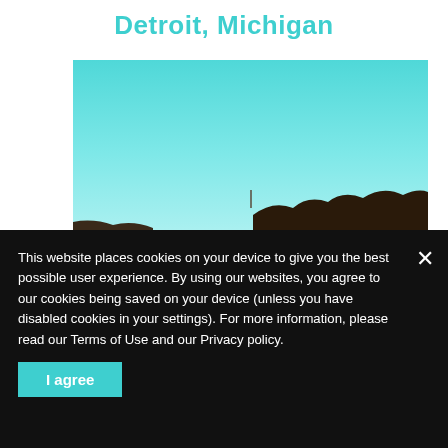Detroit, Michigan
[Figure (photo): Outdoor photo showing a teal/cyan sky with dark tree line silhouette at the bottom, bright daylight scene]
This website places cookies on your device to give you the best possible user experience. By using our websites, you agree to our cookies being saved on your device (unless you have disabled cookies in your settings). For more information, please read our Terms of Use and our Privacy policy.
I agree